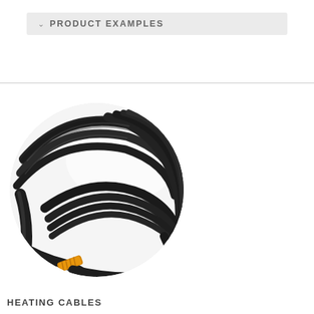PRODUCT EXAMPLES
[Figure (photo): Circular cropped photo of coiled black heating cables with an orange connector/end cap visible at the bottom left of the coil, on a white background.]
HEATING CABLES